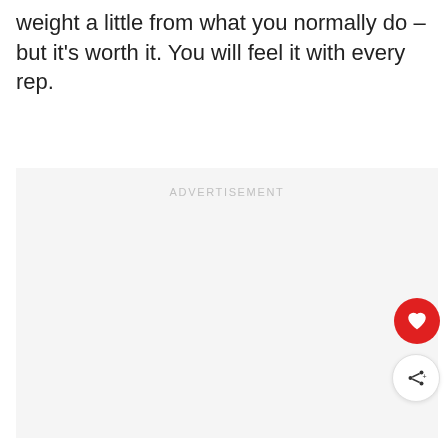weight a little from what you normally do – but it's worth it. You will feel it with every rep.
[Figure (other): Advertisement placeholder box with 'ADVERTISEMENT' label in light gray text, with a heart (favorite) button and a share button overlaid on the right side.]